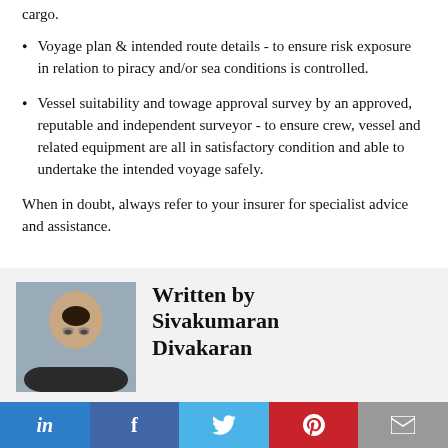cargo.
Voyage plan & intended route details - to ensure risk exposure in relation to piracy and/or sea conditions is controlled.
Vessel suitability and towage approval survey by an approved, reputable and independent surveyor - to ensure crew, vessel and related equipment are all in satisfactory condition and able to undertake the intended voyage safely.
When in doubt, always refer to your insurer for specialist advice and assistance.
Written by Sivakumaran Divakaran